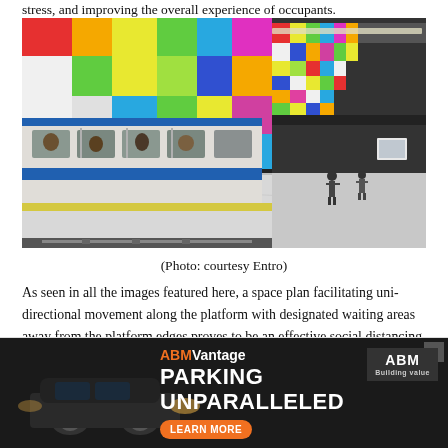stress, and improving the overall experience of occupants.
[Figure (photo): Interior of a colorful metro/subway station platform with a train stopped alongside. The walls feature a bold multicolored pixel/tile pattern in red, orange, yellow, green, blue, and other colors. The platform has a white and gray tiled floor with yellow safety markings. Several passengers are visible on the platform and inside the train.]
(Photo: courtesy Entro)
As seen in all the images featured here, a space plan facilitating uni-directional movement along the platform with designated waiting areas away from the platform edges proves to be an effective social distancing strategy for the example passenger rail platform. Initial model si... was not achieved... e plan to
[Figure (screenshot): Advertisement overlay: ABMVantage 'PARKING UNPARALLELED' advertisement with a dark background, car image, orange accent colors, and a 'LEARN MORE' button. An X close button appears in the top right corner.]